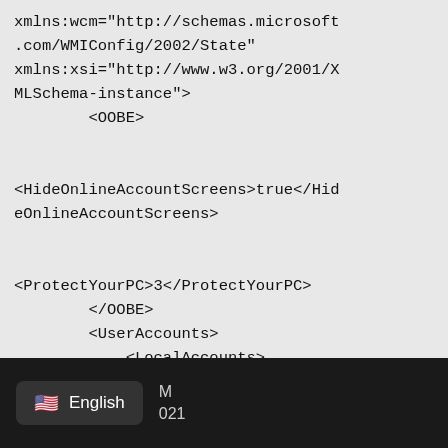xmlns:wcm="http://schemas.microsoft.com/WMIConfig/2002/State"
xmlns:xsi="http://www.w3.org/2001/XMLSchema-instance">
        <OOBE>

<HideOnlineAccountScreens>true</HideOnlineAccountScreens>

<ProtectYourPC>3</ProtectYourPC>
        </OOBE>
        <UserAccounts>
            <LocalAccounts>
English   M  021